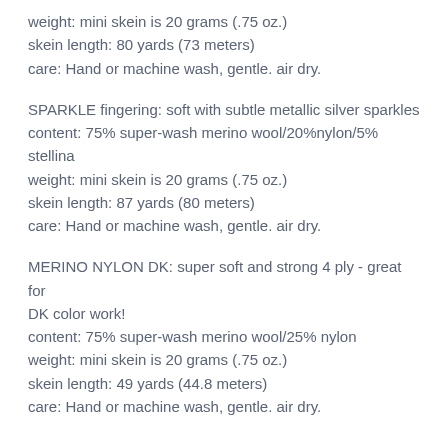weight: mini skein is 20 grams (.75 oz.)
skein length: 80 yards (73 meters)
care: Hand or machine wash, gentle. air dry.
SPARKLE fingering: soft with subtle metallic silver sparkles
content: 75% super-wash merino wool/20%nylon/5% stellina
weight: mini skein is 20 grams (.75 oz.)
skein length: 87 yards (80 meters)
care: Hand or machine wash, gentle. air dry.
MERINO NYLON DK: super soft and strong 4 ply - great for DK color work!
content: 75% super-wash merino wool/25% nylon
weight: mini skein is 20 grams (.75 oz.)
skein length: 49 yards (44.8 meters)
care: Hand or machine wash, gentle. air dry.